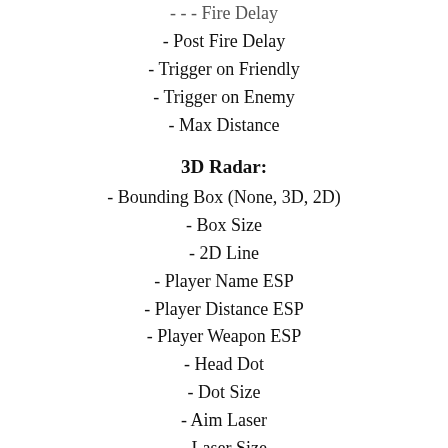- Post Fire Delay
- Trigger on Friendly
- Trigger on Enemy
- Max Distance
3D Radar:
- Bounding Box (None, 3D, 2D)
- Box Size
- 2D Line
- Player Name ESP
- Player Distance ESP
- Player Weapon ESP
- Head Dot
- Dot Size
- Aim Laser
- Laser Size
- Grenade ESP
- Pickup ESP
- Show Friendly
- Show Enemy
- Max Distance
2D Radar:
- Show Radar
- Show Cross